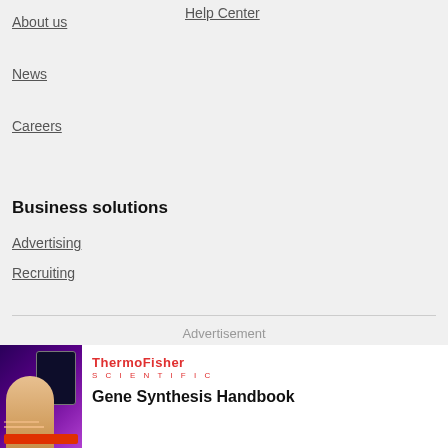About us
Help Center
News
Careers
Business solutions
Advertising
Recruiting
Advertisement
[Figure (illustration): ThermoFisher Scientific advertisement banner showing a person in a lab coat next to a screen, with purple gradient background and red ThermoFisher Scientific logo]
Gene Synthesis Handbook